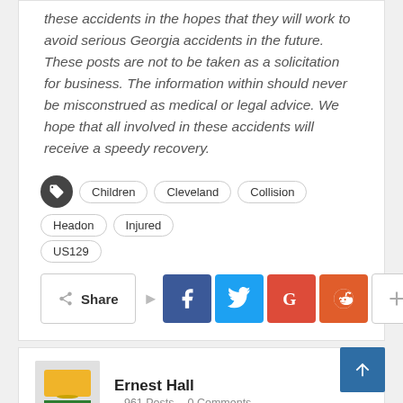these accidents in the hopes that they will work to avoid serious Georgia accidents in the future. These posts are not to be taken as a solicitation for business. The information within should never be misconstrued as medical or legal advice. We hope that all involved in these accidents will receive a speedy recovery.
Children · Cleveland · Collision · Headon · Injured · US129
Share (social share buttons: Facebook, Twitter, Google+, Reddit, More)
Ernest Hall – 961 Posts – 0 Comments